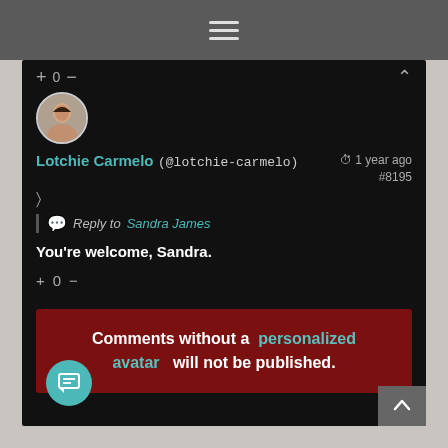≡ (hamburger menu)
+ 0 −
[Figure (photo): Round avatar photo of Lotchie Carmelo, a woman]
Lotchie Carmelo (@lotchie-carmelo)  🕐 1 year ago  #8195
Reply to Sandra James
You're welcome, Sandra.
+ 0 −
Comments without a personalized avatar will not be published.
3